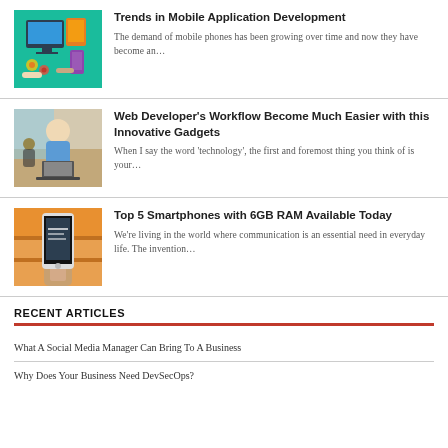[Figure (illustration): Colorful illustration of mobile apps and devices on teal background]
Trends in Mobile Application Development
The demand of mobile phones has been growing over time and now they have become an…
[Figure (photo): Photo of a smiling man sitting at a cafe with a laptop]
Web Developer's Workflow Become Much Easier with this Innovative Gadgets
When I say the word 'technology', the first and foremost thing you think of is your…
[Figure (photo): Photo of a hand holding a smartphone]
Top 5 Smartphones with 6GB RAM Available Today
We're living in the world where communication is an essential need in everyday life. The invention…
RECENT ARTICLES
What A Social Media Manager Can Bring To A Business
Why Does Your Business Need DevSecOps?